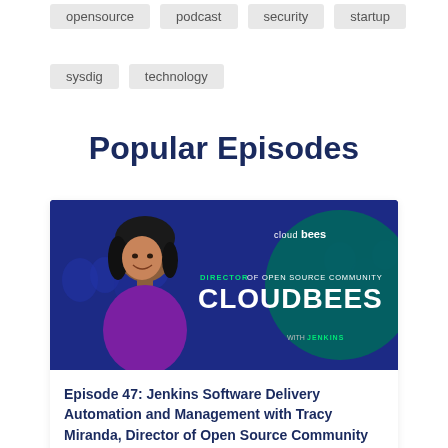opensource
podcast
security
startup
sysdig
technology
Popular Episodes
[Figure (photo): Podcast episode thumbnail featuring a woman in a purple top smiling, with dark blue background showing a crowd. Text overlay reads: DIRECTOR OF OPEN SOURCE COMMUNITY CLOUDBEES WITH JENKINS. CloudBees logo visible top right.]
Episode 47: Jenkins Software Delivery Automation and Management with Tracy Miranda, Director of Open Source Community CloudBees